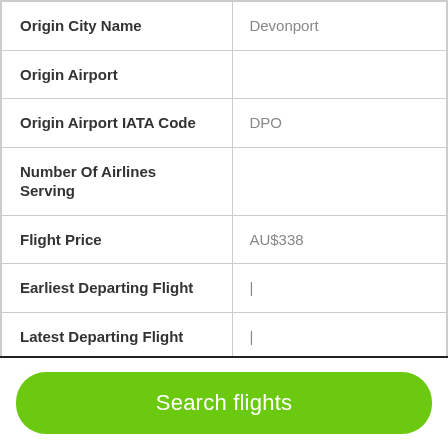| Origin City Name | Devonport |
| Origin Airport |  |
| Origin Airport IATA Code | DPO |
| Number Of Airlines Serving |  |
| Flight Price | AU$338 |
| Earliest Departing Flight | | |
| Latest Departing Flight | | |
Search flights